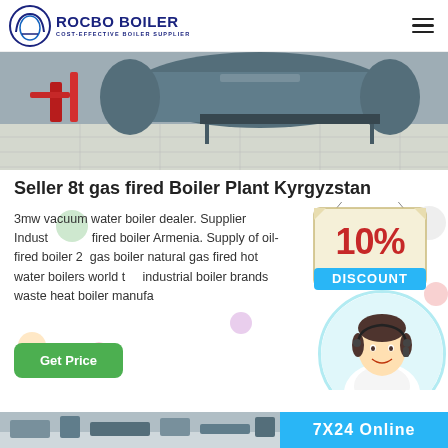ROCBO BOILER - COST-EFFECTIVE BOILER SUPPLIER
[Figure (photo): Industrial boiler equipment on tiled floor, showing pipes and machinery]
Seller 8t gas fired Boiler Plant Kyrgyzstan
3mw vacuum water boiler dealer. Supplier Industrial gas fired boiler Armenia. Supply of oil-fired boiler 2t gas boiler natural gas fired hot water boilers world top industrial boiler brands waste heat boiler manufacturer
[Figure (infographic): 10% DISCOUNT badge hanging sign]
[Figure (photo): Customer service agent woman with headset smiling]
[Figure (photo): Bottom strip showing machinery photo and 7X24 online service banner in blue]